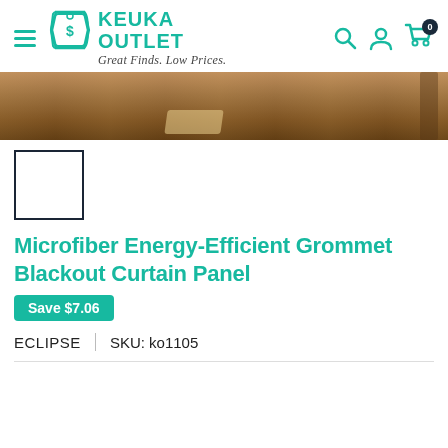KEUKA OUTLET — Great Finds. Low Prices.
[Figure (photo): Product banner showing a wood floor interior scene, partial view of room]
[Figure (photo): Small white thumbnail image with dark border for product color/variant selection]
Microfiber Energy-Efficient Grommet Blackout Curtain Panel
Save $7.06
ECLIPSE  |  SKU: ko1105